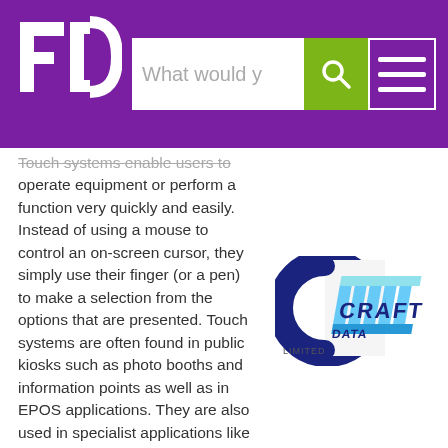FD logo | What would y [search] | hamburger menu
Touch systems enable users to operate equipment or perform a function very quickly and easily. Instead of using a mouse to control an on-screen cursor, they simply use their finger (or a pen) to make a selection from the options that are presented. Touch systems are often found in public kiosks such as photo booths and information points as well as in EPOS applications. They are also used in specialist applications like medical or military display and monitoring. Craft Data offers a range of touch screen solutions that utilise various different touch technologies (infrared, surface acoustic wave, capacitive and resistive, for
[Figure (logo): Craft Data Limited logo — stylized 3D letters in blue and teal]